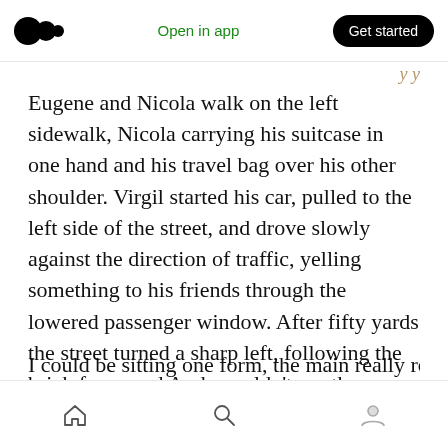Medium logo | Open in app | Get started
Eugene and Nicola walk on the left sidewalk, Nicola carrying his suitcase in one hand and his travel bag over his other shoulder. Virgil started his car, pulled to the left side of the street, and drove slowly against the direction of traffic, yelling something to his friends through the lowered passenger window. After fifty yards the street turned a sharp left, following the brick fence and Andy couldn't see them any longer.
*
I could hear it coming from the opening, all rocking kinds
Home | Search | Profile